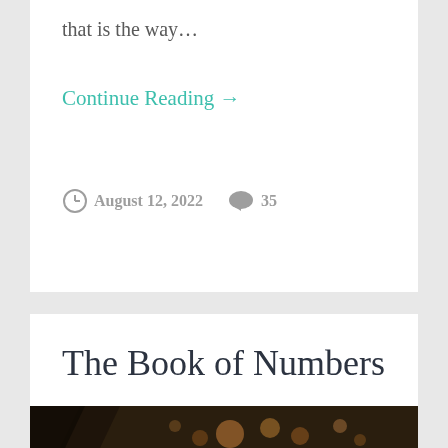that is the way…
Continue Reading →
August 12, 2022   35
The Book of Numbers – Census in the Wilderness
[Figure (photo): Dark bokeh background photo with warm orange/golden out-of-focus light spots]